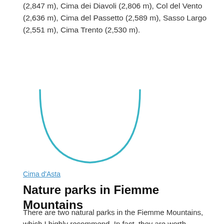(2,847 m), Cima dei Diavoli (2,806 m), Col del Vento (2,636 m), Cima del Passetto (2,589 m), Sasso Largo (2,551 m), Cima Trento (2,530 m).
[Figure (illustration): A partial circular arc rendered in teal/cyan color, showing the bottom portion of a circle outline, resembling a loading spinner or decorative graphic element.]
Cima d'Asta
Nature parks in Fiemme Mountains
There are two natural parks in the Fiemme Mountains, which I highly recommend. In fact, they are worth coming